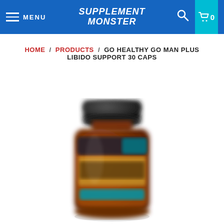MENU | SUPPLEMENT MONSTER | 0
HOME / PRODUCTS / GO HEALTHY GO MAN PLUS LIBIDO SUPPORT 30 CAPS
[Figure (photo): Product photo of Go Healthy Go Man Plus Libido Support 30 Caps supplement bottle — amber/brown glass bottle with dark cap, label showing product branding in orange, gold, and blue, slightly blurred/out of focus]